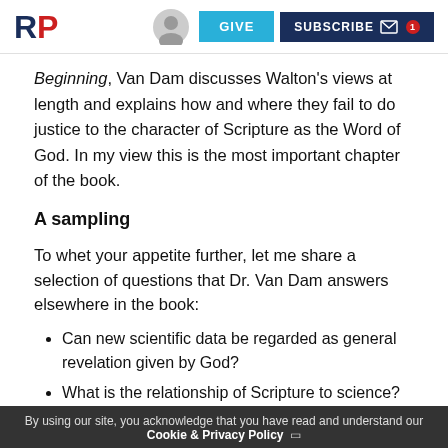RP | GIVE | SUBSCRIBE
Beginning, Van Dam discusses Walton's views at length and explains how and where they fail to do justice to the character of Scripture as the Word of God.  In my view this is the most important chapter of the book.
A sampling
To whet your appetite further, let me share a selection of questions that Dr. Van Dam answers elsewhere in the book:
Can new scientific data be regarded as general revelation given by God?
What is the relationship of Scripture to science?  Is Scripture a scientific textbook?
Can geology give us a history of creation?
Was Herman Dooyeweerd faithful to Scripture in his
By using our site, you acknowledge that you have read and understand our Cookie & Privacy Policy